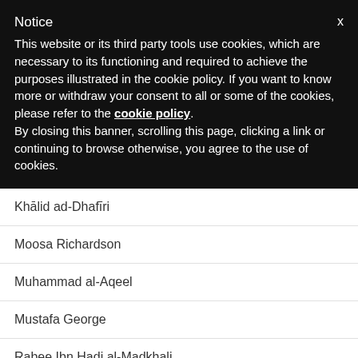Notice
This website or its third party tools use cookies, which are necessary to its functioning and required to achieve the purposes illustrated in the cookie policy. If you want to know more or withdraw your consent to all or some of the cookies, please refer to the cookie policy.
By closing this banner, scrolling this page, clicking a link or continuing to browse otherwise, you agree to the use of cookies.
Khālid ad-Dhafīri
Moosa Richardson
Muhammad al-Aqeel
Mustafa George
Rabee Ibn Hadi al-Madkhali
Salih al-Fawzan
Salih al-Luhaydan